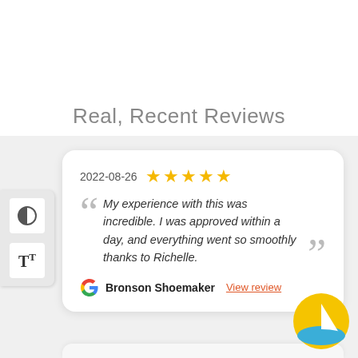Real, Recent Reviews
2022-08-26 ★★★★★
My experience with this was incredible. I was approved within a day, and everything went so smoothly thanks to Richelle.
Bronson Shoemaker  View review
[Figure (logo): Sailboat logo with yellow sail and red boat on blue water]